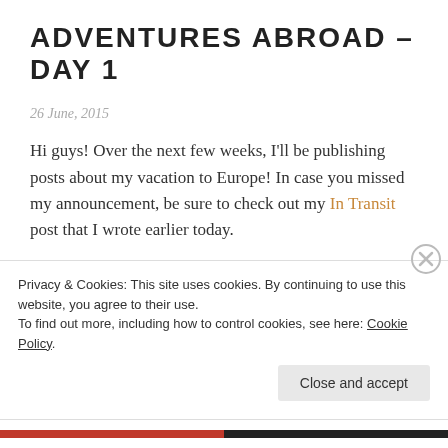ADVENTURES ABROAD – DAY 1
26 June, 2015
Hi guys! Over the next few weeks, I'll be publishing posts about my vacation to Europe! In case you missed my announcement, be sure to check out my In Transit post that I wrote earlier today.
This is my first Summer Adventure post, and it's about my first day in Copenhagen. I hope you guys like it!
Day 1: Copenhagen, Denmark
Privacy & Cookies: This site uses cookies. By continuing to use this website, you agree to their use.
To find out more, including how to control cookies, see here: Cookie Policy